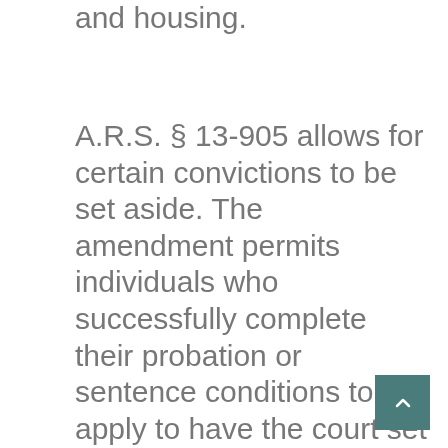and housing.
A.R.S. § 13-905 allows for certain convictions to be set aside. The amendment permits individuals who successfully complete their probation or sentence conditions to apply to have the court set aside prior convictions and additionally receive a Certificate that prevents them from being barred from obtaining certain occupational licenses if otherwise qualified.